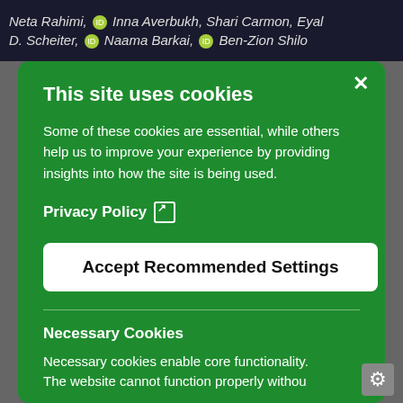Neta Rahimi, Inna Averbukh, Shari Carmon, Eyal D. Scheiter, Naama Barkai, Ben-Zion Shilo
This site uses cookies
Some of these cookies are essential, while others help us to improve your experience by providing insights into how the site is being used.
Privacy Policy
Accept Recommended Settings
Necessary Cookies
Necessary cookies enable core functionality. The website cannot function properly withou